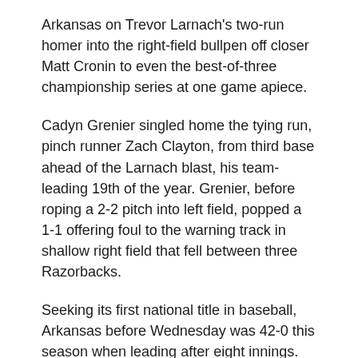Arkansas on Trevor Larnach's two-run homer into the right-field bullpen off closer Matt Cronin to even the best-of-three championship series at one game apiece.
Cadyn Grenier singled home the tying run, pinch runner Zach Clayton, from third base ahead of the Larnach blast, his team-leading 19th of the year. Grenier, before roping a 2-2 pitch into left field, popped a 1-1 offering foul to the warning track in shallow right field that fell between three Razorbacks.
Seeking its first national title in baseball, Arkansas before Wednesday was 42-0 this season when leading after eight innings.
The Beavers (54-12-1) worked around a leadoff single in